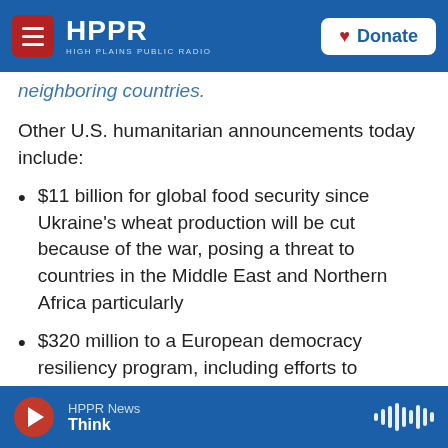HPPR | HIGH PLAINS PUBLIC RADIO | Donate
neighboring countries.
Other U.S. humanitarian announcements today include:
$11 billion for global food security since Ukraine's wheat production will be cut because of the war, posing a threat to countries in the Middle East and Northern Africa particularly
$320 million to a European democracy resiliency program, including efforts to document and preserve evidence of potential war crimes in the Ukraine conflict, and to help countries such as
HPPR News | Think